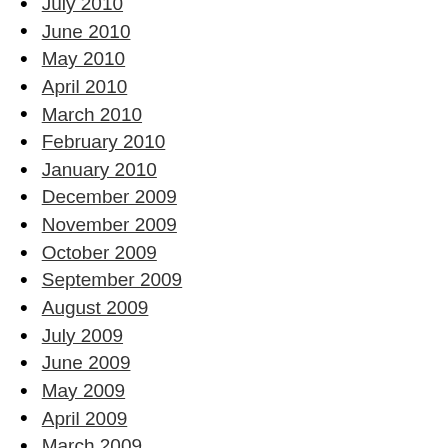July 2010
June 2010
May 2010
April 2010
March 2010
February 2010
January 2010
December 2009
November 2009
October 2009
September 2009
August 2009
July 2009
June 2009
May 2009
April 2009
March 2009
February 2009
January 2009
December 2008
November 2008
October 2008